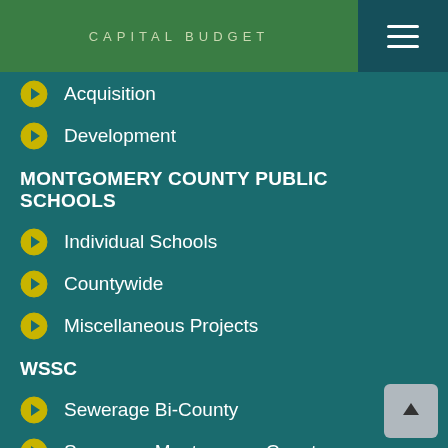CAPITAL BUDGET
Acquisition
Development
MONTGOMERY COUNTY PUBLIC SCHOOLS
Individual Schools
Countywide
Miscellaneous Projects
WSSC
Sewerage Bi-County
Sewerage Montgomery County
Water Bi-County